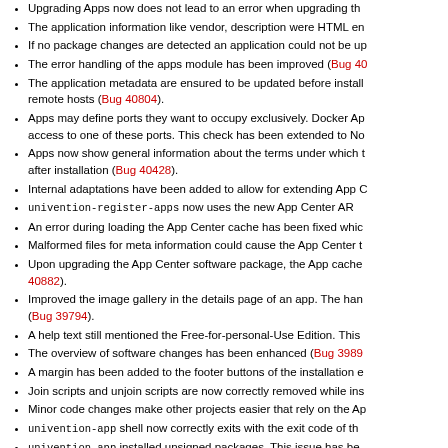Upgrading Apps now does not lead to an error when upgrading th…
The application information like vendor, description were HTML en…
If no package changes are detected an application could not be up…
The error handling of the apps module has been improved (Bug 40…).
The application metadata are ensured to be updated before install… remote hosts (Bug 40804).
Apps may define ports they want to occupy exclusively. Docker Ap… access to one of these ports. This check has been extended to No…
Apps now show general information about the terms under which t… after installation (Bug 40428).
Internal adaptations have been added to allow for extending App C…
univention-register-apps now uses the new App Center AR…
An error during loading the App Center cache has been fixed whic…
Malformed files for meta information could cause the App Center t…
Upon upgrading the App Center software package, the App cache… 40882).
Improved the image gallery in the details page of an app. The han… (Bug 39794).
A help text still mentioned the Free-for-personal-Use Edition. This…
The overview of software changes has been enhanced (Bug 3989…).
A margin has been added to the footer buttons of the installation e…
Join scripts and unjoin scripts are now correctly removed while ins…
Minor code changes make other projects easier that rely on the Ap…
univention-app shell now correctly exits with the exit code of th…
univention-app installed unsigned packages. This issue has be…
The Package Management module can be opened via hash again…
Details of software packages can be shown again (Bug 40992).
The installation status of Docker Apps was determined incorrectly…
Join scripts of Docker Apps are run via univention-run-join-…
The certificate of the App Center server is now always validated in…